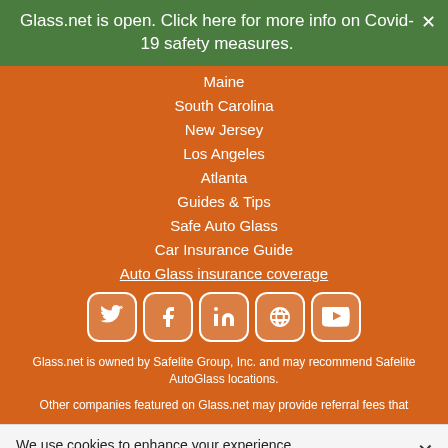Glass.net is open. Click here for more info on Covid-19 safety measures.
Maine
South Carolina
New Jersey
Los Angeles
Atlanta
Guides & Tips
Safe Auto Glass
Car Insurance Guide
Auto Glass insurance coverage
[Figure (other): Social media icons: Twitter, Facebook, LinkedIn, Google+, YouTube]
Glass.net is owned by Safelite Group, Inc. and may recommend Safelite AutoGlass locations.
Other companies featured on Glass.net may provide referral fees that
We use cookies to enhance your experience.
Cookie settings